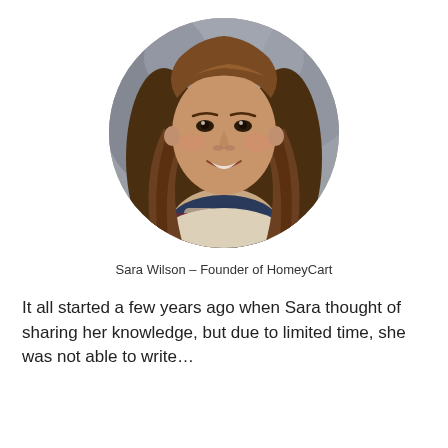[Figure (photo): Circular portrait photo of a smiling young woman with long wavy brown hair wearing a plaid scarf and cream sweater, photographed against a blurred outdoor background.]
Sara Wilson – Founder of HomeyCart
It all started a few years ago when Sara thought of sharing her knowledge, but due to limited time, she was not able to write…